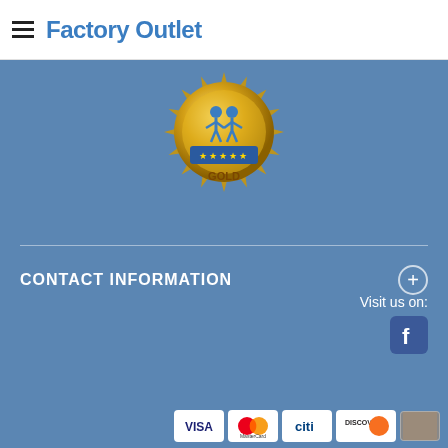Factory Outlet
[Figure (logo): Gold award badge/seal with two figures and five stars, labeled GOLD]
CONTACT INFORMATION
Visit us on:
[Figure (logo): Facebook logo button (blue square with white f)]
[Figure (infographic): Row of payment method icons: VISA, MasterCard, citi, DISCOVER, and one more card]